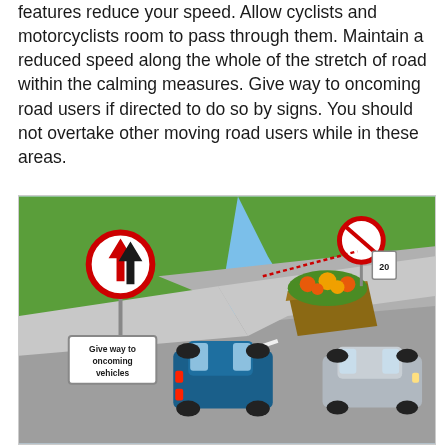features reduce your speed. Allow cyclists and motorcyclists room to pass through them. Maintain a reduced speed along the whole of the stretch of road within the calming measures. Give way to oncoming road users if directed to do so by signs. You should not overtake other moving road users while in these areas.
[Figure (illustration): Illustration of a traffic calming area showing a road with a narrowing caused by a planted flower box island. A blue SUV is stopped at the narrowing, waiting to give way. A silver car approaches from the opposite direction on the right. Road signs are visible: a circular red-bordered sign with up and down arrows (priority traffic signs) and a rectangular sign reading 'Give way to oncoming vehicles'. A no-overtaking sign is also visible near the island. The road has white chevron markings.]